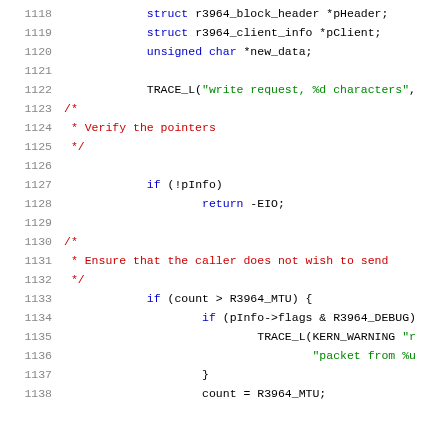[Figure (screenshot): Source code listing showing lines 1118-1138 of a C kernel driver file with syntax highlighting. Line numbers in gray on left, code with blue keywords, green strings, red comments, and black identifiers.]